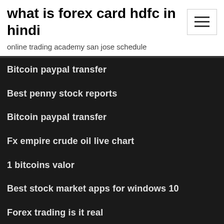what is forex card hdfc in hindi
online trading academy san jose schedule
Bitcoin paypal transfer
Best penny stock reports
Bitcoin paypal transfer
Fx empire crude oil live chart
1 bitcoins valor
Best stock market apps for windows 10
Forex trading is it real
Will stock market fall further
Precio dolar usa en mexico
Forex indonesia gratis